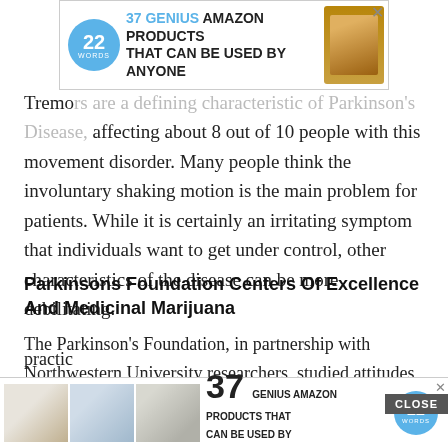[Figure (other): Advertisement banner: 37 GENIUS AMAZON PRODUCTS THAT CAN BE USED BY ANYONE with blue 22 Words circle logo and product image]
Tremors are a defining characteristic of Parkinson's Disease, affecting about 8 out of 10 people with this movement disorder. Many people think the involuntary shaking motion is the main problem for patients. While it is certainly an irritating symptom that individuals want to get under control, other characteristics of the disease can be more debilitating.
Parkinsons Foundation Centers Of Excellence And Medicinal Marijuana
The Parkinson's Foundation, in partnership with Northwestern University researchers, studied attitudes about cannabis at 40 Centers of Excellence. To the best of our knowledge, this is the first study to provide data...
practic...
[Figure (other): Bottom advertisement banner: 37 GENIUS AMAZON PRODUCTS THAT CAN BE USED BY ANYONE with 22 Words circle logo and product thumbnails, with CLOSE button]